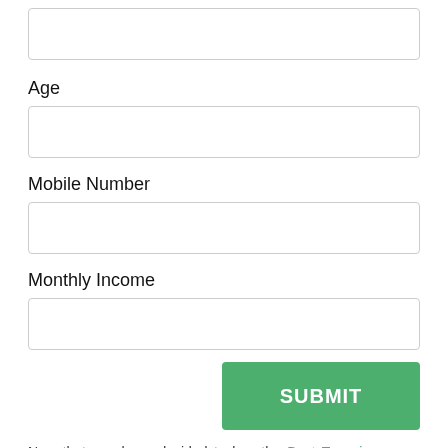[Figure (other): Empty input field (top, no label visible)]
Age
[Figure (other): Empty input field for Age]
Mobile Number
[Figure (other): Empty input field for Mobile Number]
Monthly Income
[Figure (other): Empty input field for Monthly Income]
[Figure (other): SUBMIT button in green]
Now that you have decided to buy the Best Term insurance Plan that allows you to pay for the desired life cover in return for regular premium